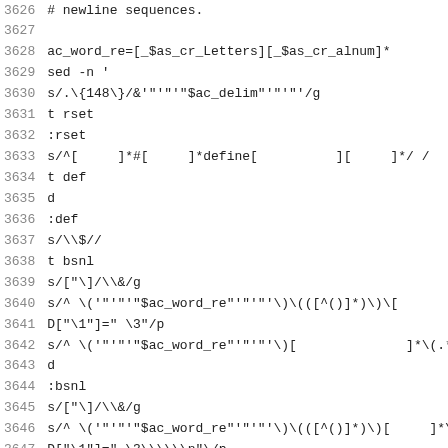3626  # newline sequences.
3627
3628  ac_word_re=[_$as_cr_Letters][_$as_cr_alnum]*
3629  sed -n '
3630  s/.\{148\}/&'"$ac_delim"'/g
3631  t rset
3632  :rset
3633  s/^[     ]*#[     ]*define[          ][     ]*/ /
3634  t def
3635  d
3636  :def
3637  s/\\$//
3638  t bsnl
3639  s/["\]/\\&/g
3640  s/^ \('"$ac_word_re"'\)\(([^()]*)\)[ ]*\(.*
3641  D["\1"]= \3"/p
3642  s/^ \('"$ac_word_re"'\)[          ]*\(.*\)/D["\1
3643  d
3644  :bsnl
3645  s/["\]/\\&/g
3646  s/^ \('"$ac_word_re"'\)\(([^()]*)\)[     ]*\(.*
3647  D["\1"]= \3\\\\\n"\/p